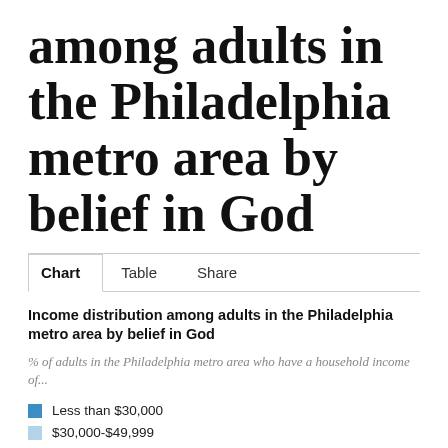among adults in the Philadelphia metro area by belief in God
Income distribution among adults in the Philadelphia metro area by belief in God
% of adults in the Philadelphia metro area who have a household income of...
Less than $30,000
$30,000-$49,999